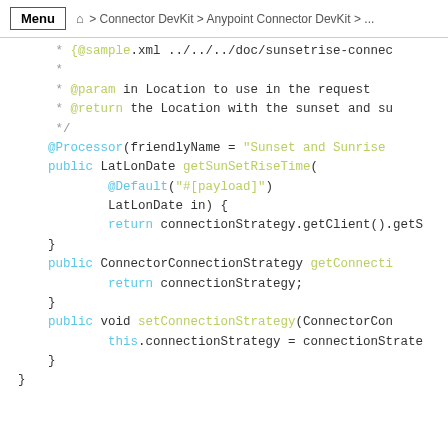Menu > Connector DevKit > Anypoint Connector DevKit > ...
[Figure (screenshot): Java source code block showing a Mule connector processor method getSunSetRiseTime with annotations, connection strategy getter/setter methods, shown in a dark-theme code editor style with syntax highlighting.]